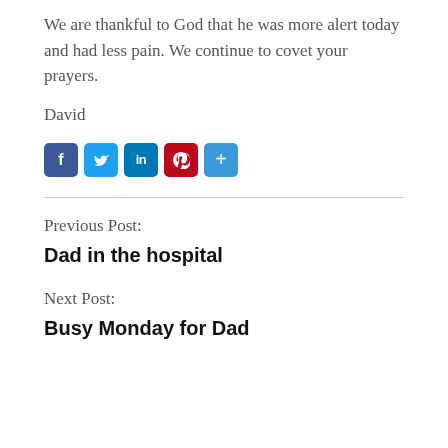We are thankful to God that he was more alert today and had less pain. We continue to covet your prayers.
David
[Figure (other): Social media sharing icons: Facebook, Twitter, LinkedIn, Pinterest, Share]
Previous Post:
Dad in the hospital
Next Post:
Busy Monday for Dad